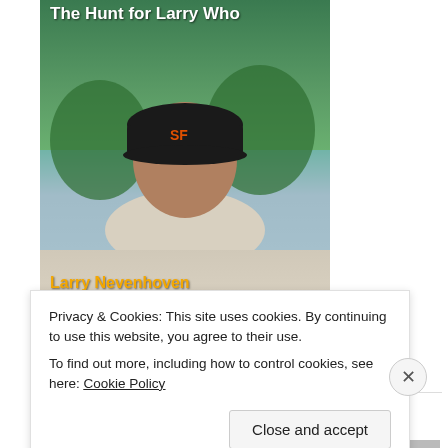[Figure (illustration): Book cover for 'The Hunt for Larry Who' by Larry Nevenhoven. Shows a person seen from behind wearing a baseball cap, standing near water with trees in background. Title text in white at top, author name in orange at bottom.]
$4.99 on Amazon for Kindle and Kindle apps
[Figure (illustration): Partial book cover showing blue background with a dark silhouette of a person, partially visible at bottom of page.]
Privacy & Cookies: This site uses cookies. By continuing to use this website, you agree to their use.
To find out more, including how to control cookies, see here: Cookie Policy
Close and accept